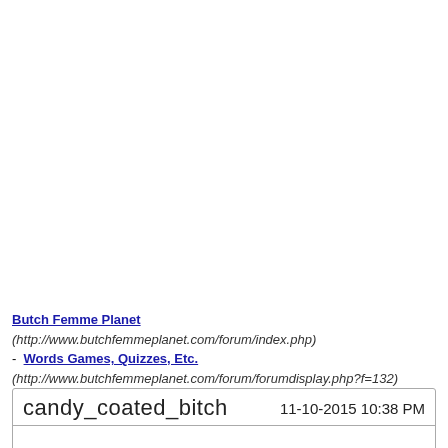Butch Femme Planet (http://www.butchfemmeplanet.com/forum/index.php) - Words Games, Quizzes, Etc. (http://www.butchfemmeplanet.com/forum/forumdisplay.php?f=132) - - 6 letter Scrabble Slam (http://www.butchfemmeplanet.com/forum/showthread.php?t=7670)
| candy_coated_bitch | 11-10-2015 10:38 PM |
| --- | --- |